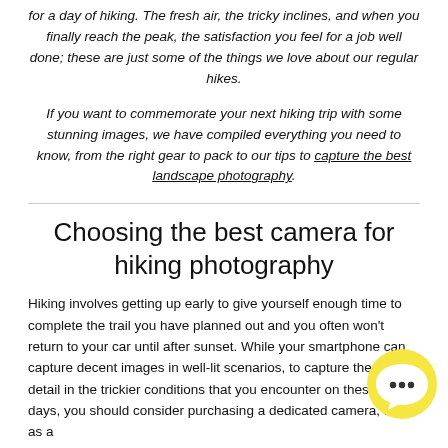for a day of hiking. The fresh air, the tricky inclines, and when you finally reach the peak, the satisfaction you feel for a job well done; these are just some of the things we love about our regular hikes.
If you want to commemorate your next hiking trip with some stunning images, we have compiled everything you need to know, from the right gear to pack to our tips to capture the best landscape photography.
Choosing the best camera for hiking photography
Hiking involves getting up early to give yourself enough time to complete the trail you have planned out and you often won't return to your car until after sunset. While your smartphone can capture decent images in well-lit scenarios, to capture the most detail in the trickier conditions that you encounter on these long days, you should consider purchasing a dedicated camera, such as a
[Figure (illustration): Yellow circular chat bubble icon with three dots inside, positioned in the bottom right area of the page]